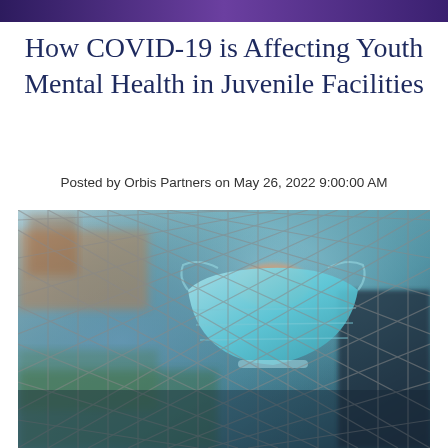How COVID-19 is Affecting Youth Mental Health in Juvenile Facilities
Posted by Orbis Partners on May 26, 2022 9:00:00 AM
[Figure (photo): A hand holding a light blue surgical face mask against a chain-link fence, with blurred background showing buildings with red/orange roofs and green foliage.]